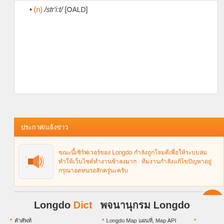(n) /str'i:t/ [OALD]
ประกาศ/แจ้งข่าว
ประกาศ/แจ้งข่าว announcement text in Thai with orange link text
Longdo Dict พจนานุกรม Longdo
คำศัพท์
วลีและสำนวน
คำแปลภาษาไทย
ตัวอย่างประโยค
Longdo Map แผนที่, Map API
Longdo Traffic สภาพจราจร
Longdo Event ปฏิทินงาน